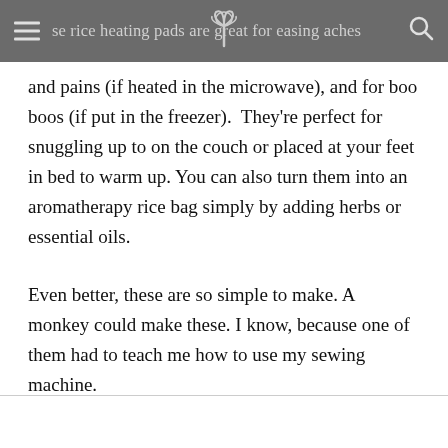se rice heating pads are great for easing aches and pains (if heated in the microwave), and for boo boos (if put in the freezer).
and pains (if heated in the microwave), and for boo boos (if put in the freezer).  They're perfect for snuggling up to on the couch or placed at your feet in bed to warm up. You can also turn them into an aromatherapy rice bag simply by adding herbs or essential oils.
Even better, these are so simple to make. A monkey could make these. I know, because one of them had to teach me how to use my sewing machine.